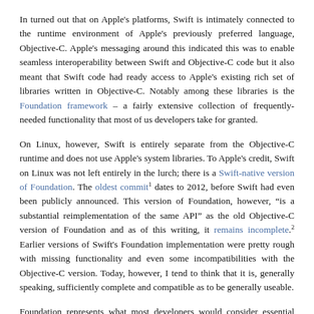In turned out that on Apple's platforms, Swift is intimately connected to the runtime environment of Apple's previously preferred language, Objective-C. Apple's messaging around this indicated this was to enable seamless interoperability between Swift and Objective-C code but it also meant that Swift code had ready access to Apple's existing rich set of libraries written in Objective-C. Notably among these libraries is the Foundation framework – a fairly extensive collection of frequently-needed functionality that most of us developers take for granted.
On Linux, however, Swift is entirely separate from the Objective-C runtime and does not use Apple's system libraries. To Apple's credit, Swift on Linux was not left entirely in the lurch; there is a Swift-native version of Foundation. The oldest commit¹ dates to 2012, before Swift had even been publicly announced. This version of Foundation, however, "is a substantial reimplementation of the same API" as the old Objective-C version of Foundation and as of this writing, it remains incomplete.² Earlier versions of Swift's Foundation implementation were pretty rough with missing functionality and even some incompatibilities with the Objective-C version. Today, however, I tend to think that it is, generally speaking, sufficiently complete and compatible as to be generally useable.
Foundation represents what most developers would consider essential functionality for a programming language. It, together with libdispatch and